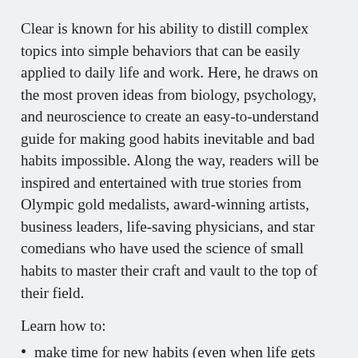Clear is known for his ability to distill complex topics into simple behaviors that can be easily applied to daily life and work. Here, he draws on the most proven ideas from biology, psychology, and neuroscience to create an easy-to-understand guide for making good habits inevitable and bad habits impossible. Along the way, readers will be inspired and entertained with true stories from Olympic gold medalists, award-winning artists, business leaders, life-saving physicians, and star comedians who have used the science of small habits to master their craft and vault to the top of their field.
Learn how to:
make time for new habits (even when life gets crazy);
overcome a lack of motivation and willpower;
design your environment to make success easier;
get back on track when you fall off course;
...and much more.
Atomic Habits will reshape the way you think about progress and success, and give you the tools and strategies you need to